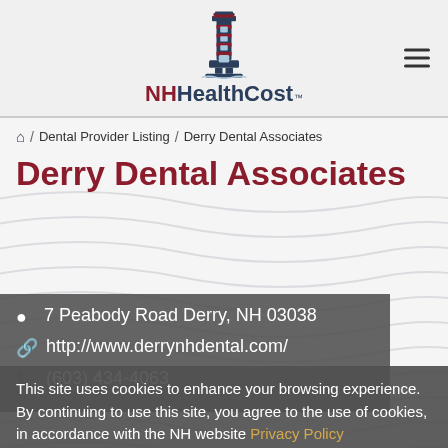[Figure (logo): NH HealthCost lighthouse logo with text 'NH HealthCost TM']
Derry Dental Associates
🏠 / Dental Provider Listing / Derry Dental Associates
📍 7 Peabody Road Derry, NH 03038
🔗 http://www.derrynhdental.com/
📞 (603) 434-4063
This site uses cookies to enhance your browsing experience. By continuing to use this site, you agree to the use of cookies, in accordance with the NH website Privacy Policy
All cost information is based on claims data collected in the New Hampshire Comprehensive Healthcare Information System which is updated quarterly. All quality information is based on claims and